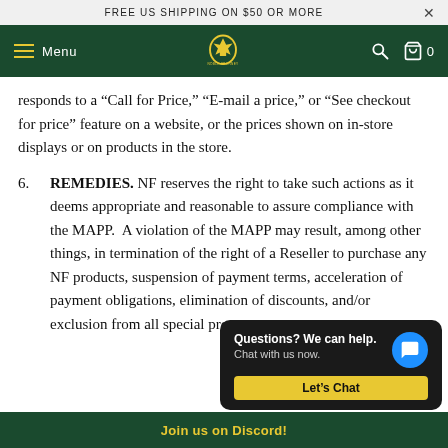FREE US SHIPPING ON $50 OR MORE
[Figure (screenshot): Website navigation bar with dark green background, hamburger menu with 'Menu' text, center logo with crest, search icon, and cart icon with '0' count]
responds to a “Call for Price,” “E-mail a price,” or “See checkout for price” feature on a website, or the prices shown on in-store displays or on products in the store.
6. REMEDIES. NF reserves the right to take such actions as it deems appropriate and reasonable to assure compliance with the MAPP. A violation of the MAPP may result, among other things, in termination of the right of a Reseller to purchase any NF products, suspension of payment terms, acceleration of payment obligations, elimination of discounts, and/or exclusion from all special programs.
Join us on Discord!